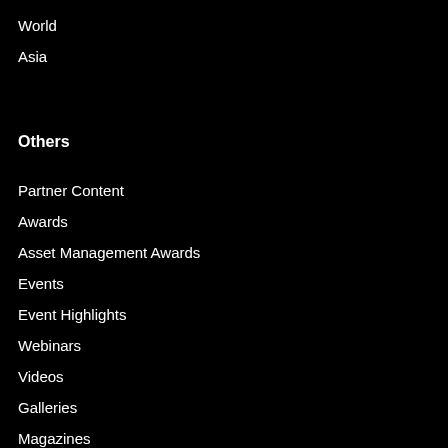World
Asia
Others
Partner Content
Awards
Asset Management Awards
Events
Event Highlights
Webinars
Videos
Galleries
Magazines
Search
Our Sites
Asset Owner Insights